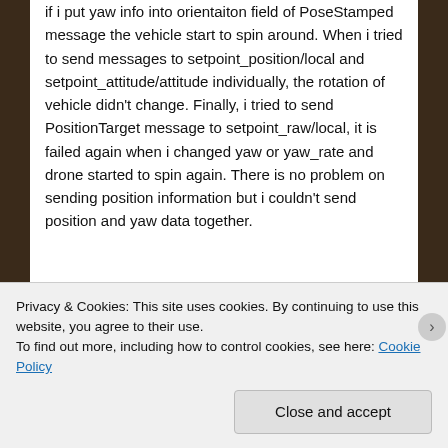if i put yaw info into orientaiton field of PoseStamped message the vehicle start to spin around. When i tried to send messages to setpoint_position/local and setpoint_attitude/attitude individually, the rotation of vehicle didn't change. Finally, i tried to send PositionTarget message to setpoint_raw/local, it is failed again when i changed yaw or yaw_rate and drone started to spin again. There is no problem on sending position information but i couldn't send position and yaw data together.
★ Like
Privacy & Cookies: This site uses cookies. By continuing to use this website, you agree to their use.
To find out more, including how to control cookies, see here: Cookie Policy
Close and accept